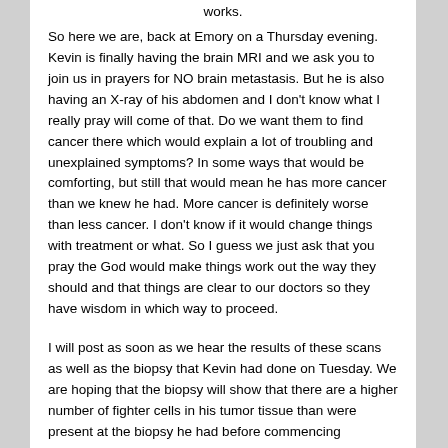works.
So here we are, back at Emory on a Thursday evening.  Kevin is finally having the brain MRI and we ask you to join us in prayers for NO brain metastasis.  But he is also having an X-ray of his abdomen and I don't know what I really pray will come of that.  Do we want them to find cancer there which would explain a lot of troubling and unexplained symptoms?  In some ways that would be comforting, but still that would mean he has more cancer than we knew he had.  More cancer is definitely worse than less cancer.  I don't know if it would change things with treatment or what.  So I guess we just ask that you pray the God would make things work out the way they should and that things are clear to our doctors so they have wisdom in which way to proceed.
I will post as soon as we hear the results of these scans as well as the biopsy that Kevin had done on Tuesday.  We are hoping that the biopsy will show that there are a higher number of fighter cells in his tumor tissue than were present at the biopsy he had before commencing